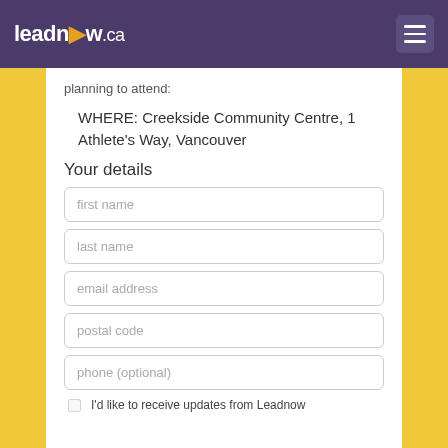leadnow.ca
planning to attend:
WHERE: Creekside Community Centre, 1 Athlete's Way, Vancouver
Your details
first name
last name
email address
postal code
phone (optional)
I'd like to receive updates from Leadnow